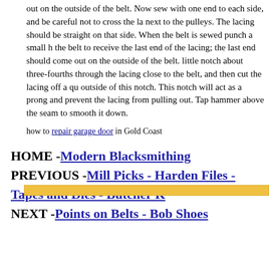out on the outside of the belt. Now sew with one end to each side, and be careful not to cross the la next to the pulleys. The lacing should be straight on that side. When the belt is sewed punch a small h the belt to receive the last end of the lacing; the last end should come out on the outside of the belt. little notch about three-fourths through the lacing close to the belt, and then cut the lacing off a qu outside of this notch. This notch will act as a prong and prevent the lacing from pulling out. Tap hammer above the seam to smooth it down.
how to repair garage door in Gold Coast
HOME -Modern Blacksmithing
PREVIOUS -Mill Picks - Harden Files - Tapes and Dies - Butcher K
NEXT -Points on Belts - Bob Shoes
[Figure (other): Gold/yellow horizontal bar]